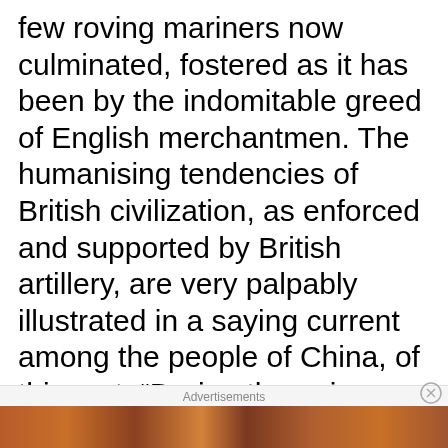few roving mariners now culminated, fostered as it has been by the indomitable greed of English merchantmen. The humanising tendencies of British civilization, as enforced and supported by British artillery, are very palpably illustrated in a saying current among the people of China, of this sort: “During the opium war the English gave their Chinese acquaintance cannonballs of iron, and after the war, cannonballs of opium; so that our people had the desperate privilege of choice as
Advertisements